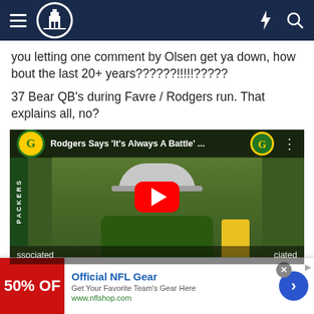ChoCCity - navigation header with hamburger menu, logo, lightning bolt icon, and search icon
you letting one comment by Olsen get ya down, how bout the last 20+ years??????!!!!!?????
37 Bear QB's during Favre / Rodgers run. That explains all, no?
[Figure (screenshot): Embedded YouTube video thumbnail showing Aaron Rodgers at a press conference with Green Bay Packers branding. Title reads: Rodgers Says 'It's Always A Battle' ... with YouTube play button overlay. Bottom shows 'ssociated' (Associated Bank) branding.]
Official NFL Gear
Get Your Favorite Team's Gear Here
www.nflshop.com